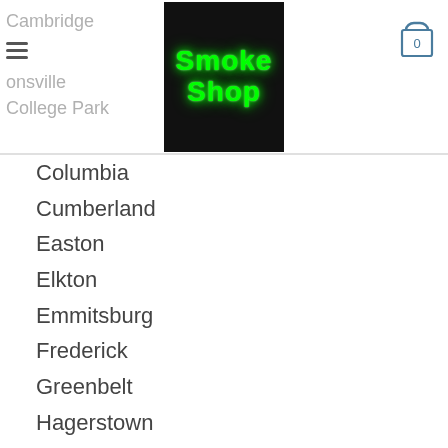Cambridge | Jonsville | College Park | [menu icon] [logo: Smoke Shop] [cart: 0]
Columbia
Cumberland
Easton
Elkton
Emmitsburg
Frederick
Greenbelt
Hagerstown
Hyattsville
Laurel
Oakland
Ocean City
Rockville
Saint Marys City
Salisbury